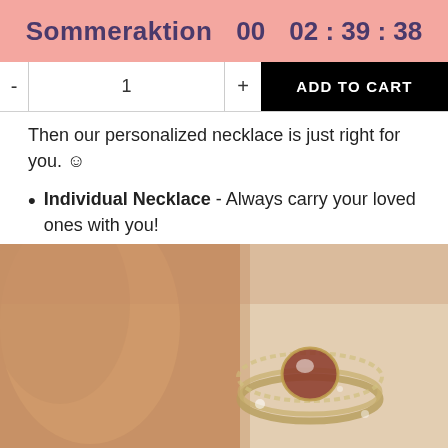Sommeraktion  00  02 : 39 : 38
- 1 +  ADD TO CART
Then our personalized necklace is just right for you. ☺
Individual Necklace - Always carry your loved ones with you!
[Figure (photo): Close-up photo of a decorative ring with a red/brown gemstone and crystal embellishments, held or resting near a finger, warm sepia-toned background]